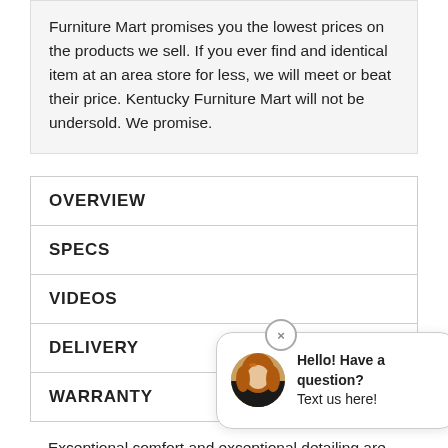Furniture Mart promises you the lowest prices on the products we sell. If you ever find and identical item at an area store for less, we will meet or beat their price. Kentucky Furniture Mart will not be undersold. We promise.
OVERVIEW
SPECS
VIDEOS
DELIVERY
WARRANTY
[Figure (screenshot): Chat popup overlay with close button (×), a circular avatar photo of a woman with red/auburn hair, and text: 'Hello! Have a question? Text us here!']
Exceptional comfort and exceptional detailing are the hallmarks of the Greyson Rocking Recliner. Exquisitely designed, Greyson features pillow top arms and an extra-deep chaise seat and legrest that create a